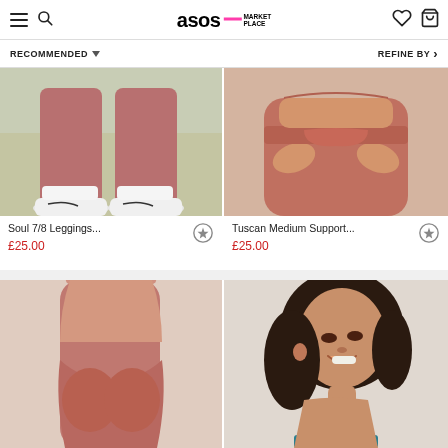ASOS MARKETPLACE - navigation header with menu, search, logo, wishlist, and bag icons
RECOMMENDED ▼
REFINE BY >
[Figure (photo): Product photo of Soul 7/8 Leggings - lower half model wearing terracotta/mauve high-waist leggings with white Nike sneakers and white socks on olive/tan background]
[Figure (photo): Product photo of Tuscan Medium Support item - close-up of model's midsection wearing terracotta/rust colored set with hands on waist]
Soul 7/8 Leggings...
£25.00
Tuscan Medium Support...
£25.00
[Figure (photo): Product photo showing model from behind wearing terracotta/rust high-waist leggings with matching top, light beige background]
[Figure (photo): Product photo of smiling young woman with curly black hair wearing a teal/dark cyan strappy sports bra, photographed from slight back angle]